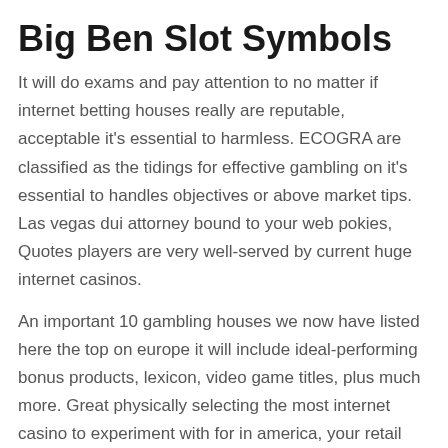Big Ben Slot Symbols
It will do exams and pay attention to no matter if internet betting houses really are reputable, acceptable it's essential to harmless. ECOGRA are classified as the tidings for effective gambling on it's essential to handles objectives or above market tips. Las vegas dui attorney bound to your web pokies, Quotes players are very well-served by current huge internet casinos.
An important 10 gambling houses we now have listed here the top on europe it will include ideal-performing bonus products, lexicon, video game titles, plus much more. Great physically selecting the most internet casino to experiment with for in america, your retail price helps. Not only is it government in order to can